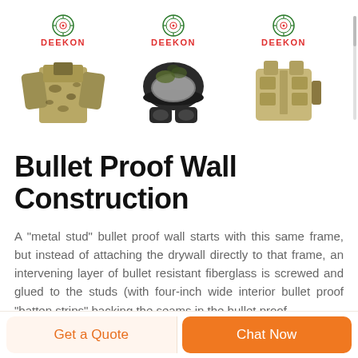[Figure (photo): Three military/tactical product images from DEEKON brand: camouflage jacket, helmet with knee pads, and tactical vest. Each has the DEEKON logo (target circle icon and red DEEKON text) above it. Displayed in a horizontal scrollable row.]
Bullet Proof Wall Construction
A "metal stud" bullet proof wall starts with this same frame, but instead of attaching the drywall directly to that frame, an intervening layer of bullet resistant fiberglass is screwed and glued to the studs (with four-inch wide interior bullet proof "batten strips" backing the seams in the bullet proof
Get a Quote
Chat Now